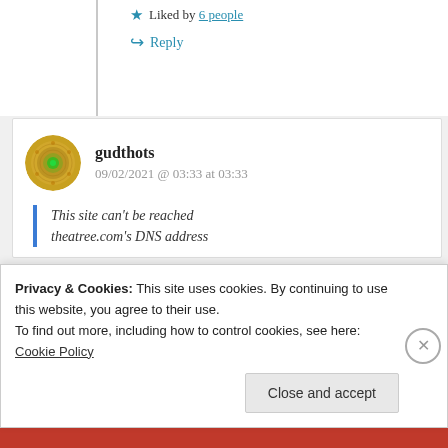Liked by 6 people
Reply
gudthots
09/02/2021 @ 03:33 at 03:33
This site can't be reached
theatree.com's DNS address
Privacy & Cookies: This site uses cookies. By continuing to use this website, you agree to their use.
To find out more, including how to control cookies, see here: Cookie Policy
Close and accept